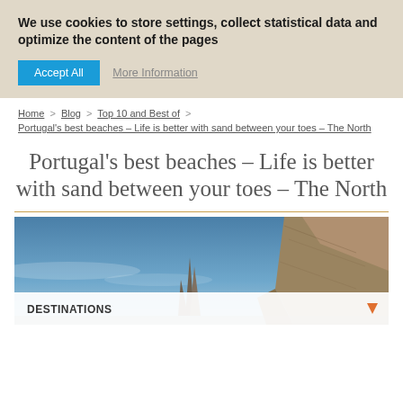We use cookies to store settings, collect statistical data and optimize the content of the pages
Accept All   More Information
Home > Blog > Top 10 and Best of > Portugal's best beaches – Life is better with sand between your toes – The North
Portugal's best beaches – Life is better with sand between your toes – The North
[Figure (photo): Coastal cliff scene in northern Portugal with rocky formations against a blue sky, with a 'DESTINATIONS' dropdown bar overlay at the bottom]